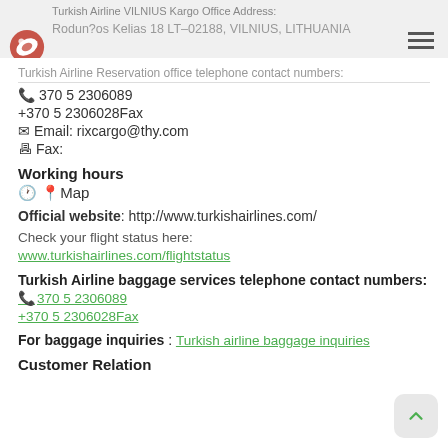Turkish Airline VILNIUS Kargo Office Address:
Rodunos Kelias 18 LT-02188, VILNIUS, LITHUANIA
Turkish Airline Reservation office telephone contact numbers:
📞 370 5 2306089
+370 5 2306028Fax
✉ Email: rixcargo@thy.com
🖷 Fax:
Working hours
🕐 📍Map
Official website: http://www.turkishairlines.com/
Check your flight status here:
www.turkishairlines.com/flightstatus
Turkish Airline baggage services telephone contact numbers:
📞 370 5 2306089
+370 5 2306028Fax
For baggage inquiries : Turkish airline baggage inquiries
Customer Relation